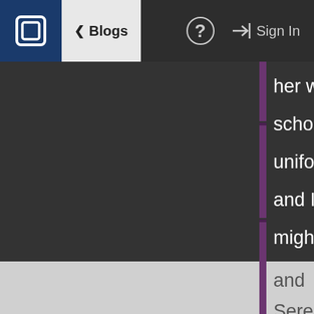Blogs  ?  Sign In
her winter school uniform) and I might actually have a suitable cosplay for cold-weather photo shoots (as you know, both Leaf and Serena